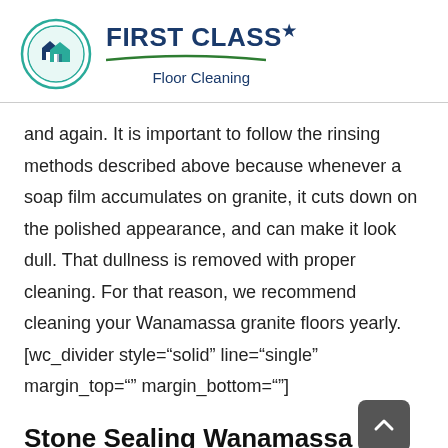[Figure (logo): First Class Floor Cleaning logo: circular icon with house/cleaning imagery in teal and dark blue, beside bold dark blue text 'FIRST CLASS' with a star, green swoosh underline, and subtitle 'Floor Cleaning']
and again. It is important to follow the rinsing methods described above because whenever a soap film accumulates on granite, it cuts down on the polished appearance, and can make it look dull. That dullness is removed with proper cleaning. For that reason, we recommend cleaning your Wanamassa granite floors yearly.[wc_divider style="solid" line="single" margin_top="" margin_bottom=""]
Stone Sealing Wanamassa New Jersey